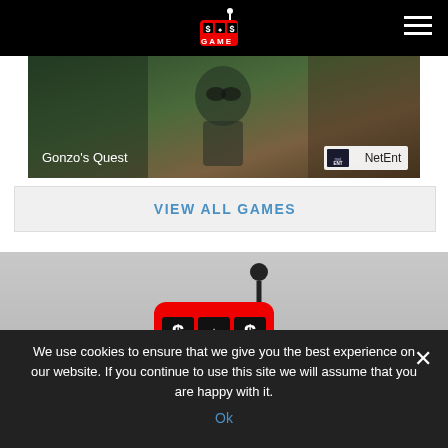SOS GAME — navigation bar with logo and hamburger menu
[Figure (screenshot): Gonzo's Quest game thumbnail image showing a character, with NetEnt logo badge in bottom right corner]
Gonzo's Quest
NetEnt
VIEW ALL GAMES
[Figure (logo): SOS GAME large logo on gray gradient background]
We use cookies to ensure that we give you the best experience on our website. If you continue to use this site we will assume that you are happy with it.
Ok